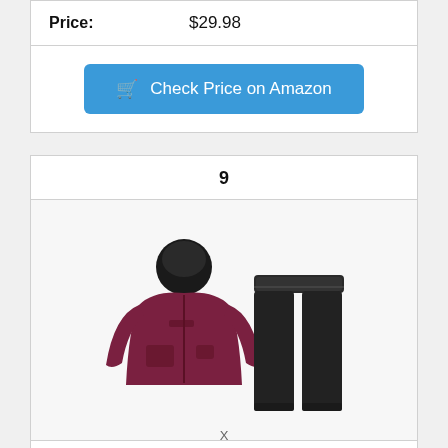Price: $29.98
Check Price on Amazon
9
[Figure (photo): Product photo of a rain suit set: a dark maroon/burgundy hooded rain jacket with front pockets and a brand logo, paired with black rain pants, displayed on a white background.]
X